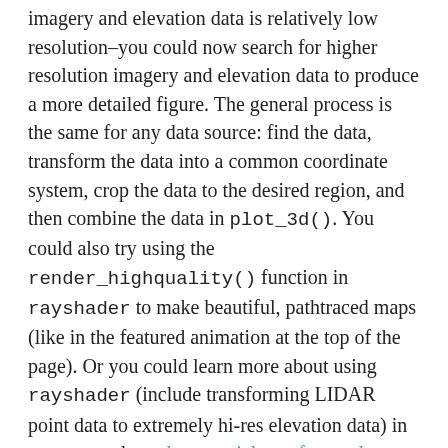imagery and elevation data is relatively low resolution–you could now search for higher resolution imagery and elevation data to produce a more detailed figure. The general process is the same for any data source: find the data, transform the data into a common coordinate system, crop the data to the desired region, and then combine the data in plot_3d(). You could also try using the render_highquality() function in rayshader to make beautiful, pathtraced maps (like in the featured animation at the top of the page). Or you could learn more about using rayshader (include transforming LIDAR point data to extremely hi-res elevation data) in my masterclass: the materials are free and open source. And this blog post is by no means the authoritative source on how to do this: